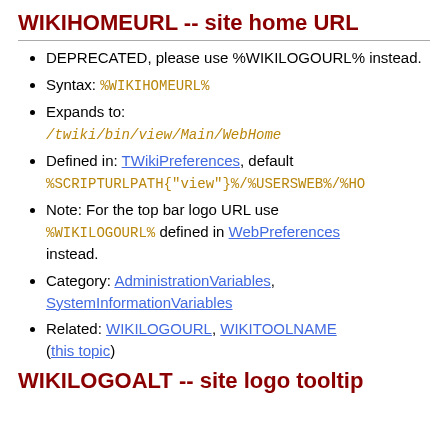WIKIHOMEURL -- site home URL
DEPRECATED, please use %WIKILOGOURL% instead.
Syntax: %WIKIHOMEURL%
Expands to: /twiki/bin/view/Main/WebHome
Defined in: TWikiPreferences, default %SCRIPTURLPATH{"view"}%/%USERSWEB%/%HO...
Note: For the top bar logo URL use %WIKILOGOURL% defined in WebPreferences instead.
Category: AdministrationVariables, SystemInformationVariables
Related: WIKILOGOURL, WIKITOOLNAME (this topic)
WIKILOGOALT -- site logo tooltip